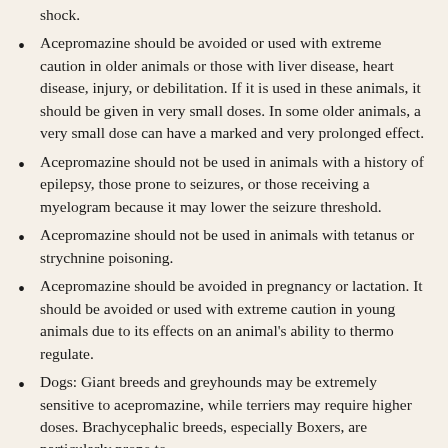shock.
Acepromazine should be avoided or used with extreme caution in older animals or those with liver disease, heart disease, injury, or debilitation. If it is used in these animals, it should be given in very small doses. In some older animals, a very small dose can have a marked and very prolonged effect.
Acepromazine should not be used in animals with a history of epilepsy, those prone to seizures, or those receiving a myelogram because it may lower the seizure threshold.
Acepromazine should not be used in animals with tetanus or strychnine poisoning.
Acepromazine should be avoided in pregnancy or lactation. It should be avoided or used with extreme caution in young animals due to its effects on an animal's ability to thermo regulate.
Dogs: Giant breeds and greyhounds may be extremely sensitive to acepromazine, while terriers may require higher doses. Brachycephalic breeds, especially Boxers, are particularly prone to cardiovascular effects, thereby should be...